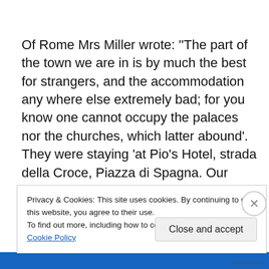Of Rome Mrs Miller wrote: ''The part of the town we are in is by much the best for strangers, and the accommodation any where else extremely bad; for you know one cannot occupy the palaces nor the churches, which latter abound'. They were staying 'at Pio's Hotel, strada della Croce, Piazza di Spagna. Our table is served rather in the English style, at least there abounds three or four homely English dishes (thanks to some kind English predecessors who have taught them), such as bacon and
Privacy & Cookies: This site uses cookies. By continuing to use this website, you agree to their use.
To find out more, including how to control cookies, see here: Cookie Policy
Close and accept